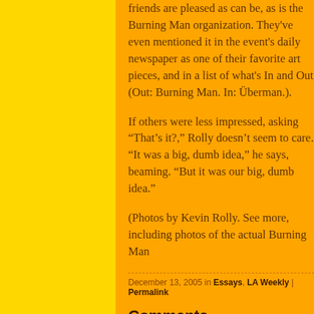friends are pleased as can be, as is the Burning Man organization. They've even mentioned it in the event's daily newspaper as one of their favorite art pieces, and in a list of what's In and Out (Out: Burning Man. In: Überman.).
If others were less impressed, asking “That’s it?,” Rolly doesn’t seem to care. “It was a big, dumb idea,” he says, beaming. “But it was our big, dumb idea.”
(Photos by Kevin Rolly. See more, including photos of the actual Burning Man
December 13, 2005 in Essays, LA Weekly | Permalink
Comments